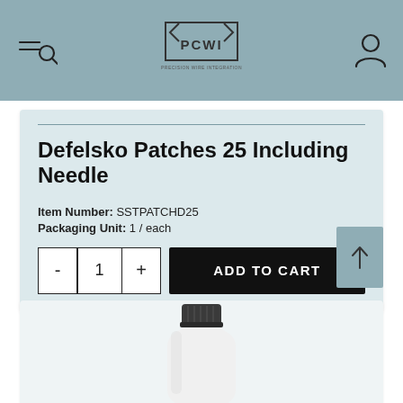[Figure (screenshot): PCWI website header with navigation menu/search icon on left, PCWI diamond logo in center, user account icon on right, on a muted teal background]
Defelsko Patches 25 Including Needle
Item Number: SSTPATCHD25
Packaging Unit: 1 / each
ADD TO CART
[Figure (photo): Partial view of a white cylindrical product bottle with a dark grey cap, cropped at the bottom of the page]